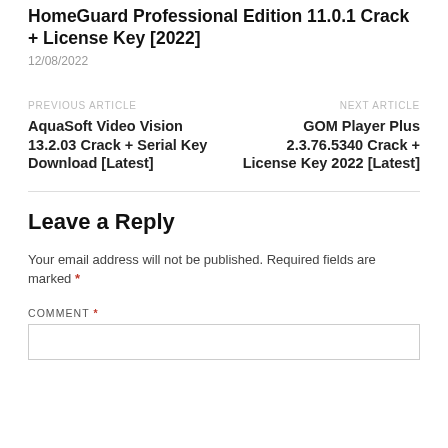HomeGuard Professional Edition 11.0.1 Crack + License Key [2022]
12/08/2022
PREVIOUS ARTICLE
AquaSoft Video Vision 13.2.03 Crack + Serial Key Download [Latest]
NEXT ARTICLE
GOM Player Plus 2.3.76.5340 Crack + License Key 2022 [Latest]
Leave a Reply
Your email address will not be published. Required fields are marked *
COMMENT *